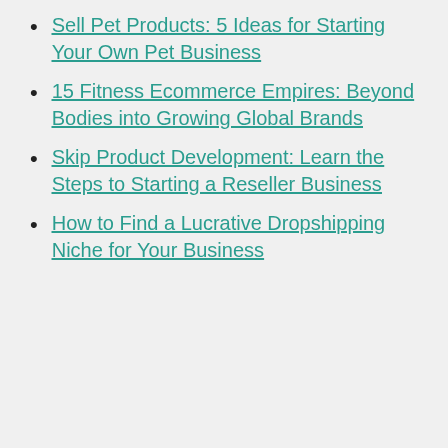Sell Pet Products: 5 Ideas for Starting Your Own Pet Business
15 Fitness Ecommerce Empires: Beyond Bodies into Growing Global Brands
Skip Product Development: Learn the Steps to Starting a Reseller Business
How to Find a Lucrative Dropshipping Niche for Your Business